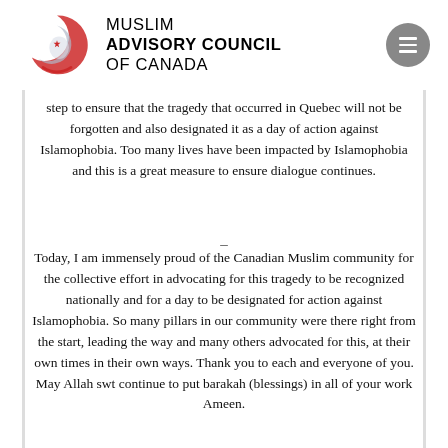MUSLIM ADVISORY COUNCIL OF CANADA
step to ensure that the tragedy that occurred in Quebec will not be forgotten and also designated it as a day of action against Islamophobia. Too many lives have been impacted by Islamophobia and this is a great measure to ensure dialogue continues.
–
Today, I am immensely proud of the Canadian Muslim community for the collective effort in advocating for this tragedy to be recognized nationally and for a day to be designated for action against Islamophobia. So many pillars in our community were there right from the start, leading the way and many others advocated for this, at their own times in their own ways. Thank you to each and everyone of you. May Allah swt continue to put barakah (blessings) in all of your work Ameen.
–
I am privileged to have had the opportunity to